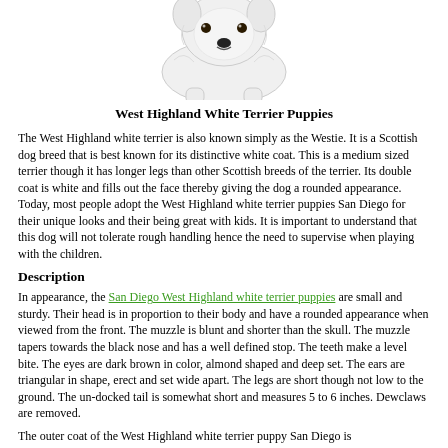[Figure (photo): White fluffy West Highland White Terrier puppy sitting, photographed from front, white background]
West Highland White Terrier Puppies
The West Highland white terrier is also known simply as the Westie. It is a Scottish dog breed that is best known for its distinctive white coat. This is a medium sized terrier though it has longer legs than other Scottish breeds of the terrier. Its double coat is white and fills out the face thereby giving the dog a rounded appearance. Today, most people adopt the West Highland white terrier puppies San Diego for their unique looks and their being great with kids. It is important to understand that this dog will not tolerate rough handling hence the need to supervise when playing with the children.
Description
In appearance, the San Diego West Highland white terrier puppies are small and sturdy. Their head is in proportion to their body and have a rounded appearance when viewed from the front. The muzzle is blunt and shorter than the skull. The muzzle tapers towards the black nose and has a well defined stop. The teeth make a level bite. The eyes are dark brown in color, almond shaped and deep set. The ears are triangular in shape, erect and set wide apart. The legs are short though not low to the ground. The un-docked tail is somewhat short and measures 5 to 6 inches. Dewclaws are removed.
The outer coat of the West Highland white terrier puppy San Diego is